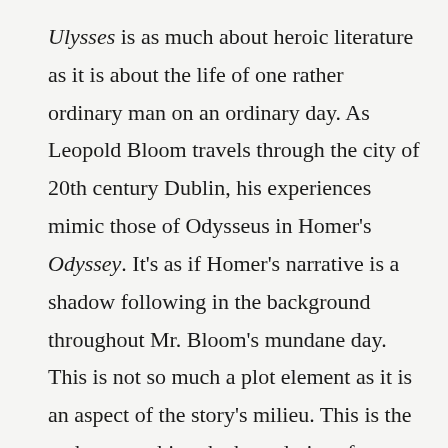Ulysses is as much about heroic literature as it is about the life of one rather ordinary man on an ordinary day. As Leopold Bloom travels through the city of 20th century Dublin, his experiences mimic those of Odysseus in Homer's Odyssey. It's as if Homer's narrative is a shadow following in the background throughout Mr. Bloom's mundane day. This is not so much a plot element as it is an aspect of the story's milieu. This is the author stretching the boundaries of storytelling and using the narrative itself to tell a story about storytelling. If you read Ulysses with that understanding I think you have to agree that Joyce achieved his objective, and that he did so in a very imaginative way. But if you're looking for a story that could serve as the basis for the next Die Hard movie–